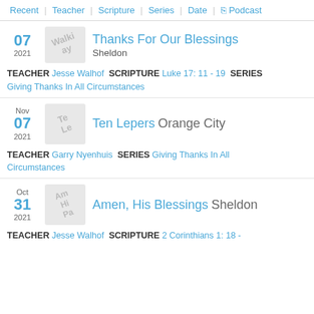Recent | Teacher | Scripture | Series | Date | Podcast
07 2021 Thanks For Our Blessings Sheldon — TEACHER Jesse Walhof SCRIPTURE Luke 17:11 - 19 SERIES Giving Thanks In All Circumstances
Nov 07 2021 Ten Lepers Orange City — TEACHER Garry Nyenhuis SERIES Giving Thanks In All Circumstances
Oct 31 2021 Amen, His Blessings Sheldon — TEACHER Jesse Walhof SCRIPTURE 2 Corinthians 1:18 -